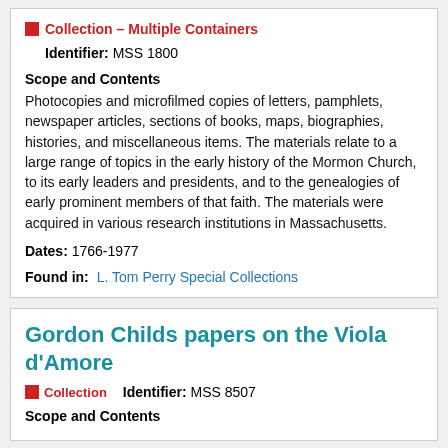Collection — Multiple Containers
Identifier: MSS 1800
Scope and Contents
Photocopies and microfilmed copies of letters, pamphlets, newspaper articles, sections of books, maps, biographies, histories, and miscellaneous items. The materials relate to a large range of topics in the early history of the Mormon Church, to its early leaders and presidents, and to the genealogies of early prominent members of that faith. The materials were acquired in various research institutions in Massachusetts.
Dates: 1766-1977
Found in: L. Tom Perry Special Collections
Gordon Childs papers on the Viola d'Amore
Collection   Identifier: MSS 8507
Scope and Contents